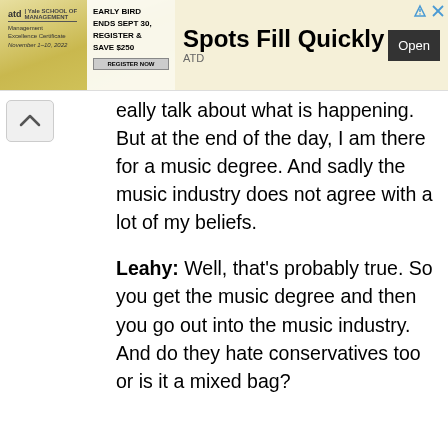[Figure (screenshot): Advertisement banner for ATD and Yale School of Management Management Excellence Certificate. Shows 'EARLY BIRD ENDS SEPT 30, REGISTER & SAVE $250' with 'Spots Fill Quickly' headline, 'ATD' label, and 'Open' button.]
eally talk about what is happening. But at the end of the day, I am there for a music degree. And sadly the music industry does not agree with a lot of my beliefs.
Leahy: Well, that's probably true. So you get the music degree and then you go out into the music industry. And do they hate conservatives too or is it a mixed bag?